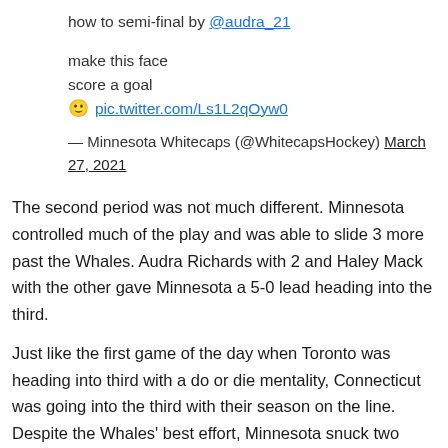how to semi-final by @audra_21
make this face
score a goal
🙂 pic.twitter.com/Ls1L2qOyw0
— Minnesota Whitecaps (@WhitecapsHockey) March 27, 2021
The second period was not much different. Minnesota controlled much of the play and was able to slide 3 more past the Whales. Audra Richards with 2 and Haley Mack with the other gave Minnesota a 5-0 lead heading into the third.
Just like the first game of the day when Toronto was heading into third with a do or die mentality, Connecticut was going into the third with their season on the line. Despite the Whales' best effort, Minnesota snuck two more goals in. Whitecaps, Allie Thunstrom, put up her second goal of the game while Audra Richards scored another goal to complete the hat trick. Minnesota had clinched their